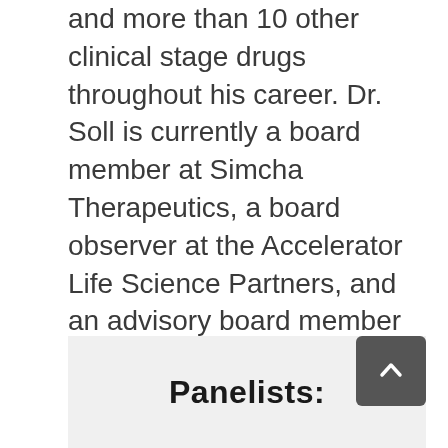between Solgene and Impact Biomedicines, and more than 10 other clinical stage drugs throughout his career. Dr. Soll is currently a board member at Simcha Therapeutics, a board observer at the Accelerator Life Science Partners, and an advisory board member with the Blavatnik Center for Drug Discovery at Tel Aviv University, the Children's Tumor Foundation, and the Pistoia Alliance. Dr. Soll was CSO / VP of R&D at TargeGen and was VP of Chemistry at 3-Dimensional Pharmaceuticals. He started his career at Ayerst Research Labs and was trained as a synthetic chemist at Dartmouth and Harvard.
Panelists: